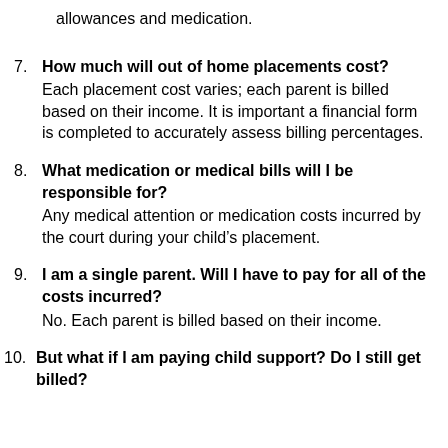allowances and medication.
7. How much will out of home placements cost? Each placement cost varies; each parent is billed based on their income. It is important a financial form is completed to accurately assess billing percentages.
8. What medication or medical bills will I be responsible for? Any medical attention or medication costs incurred by the court during your child's placement.
9. I am a single parent. Will I have to pay for all of the costs incurred? No. Each parent is billed based on their income.
10. But what if I am paying child support? Do I still get billed?